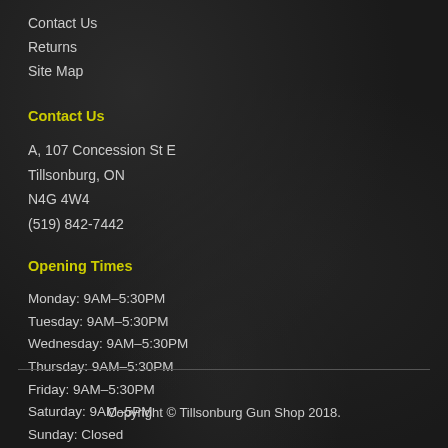Contact Us
Returns
Site Map
Contact Us
A, 107 Concession St E
Tillsonburg, ON
N4G 4W4
(519) 842-7442
Opening Times
Monday: 9AM–5:30PM
Tuesday: 9AM–5:30PM
Wednesday: 9AM–5:30PM
Thursday: 9AM–5:30PM
Friday: 9AM–5:30PM
Saturday: 9AM–5PM
Sunday: Closed
Copyright © Tillsonburg Gun Shop 2018.